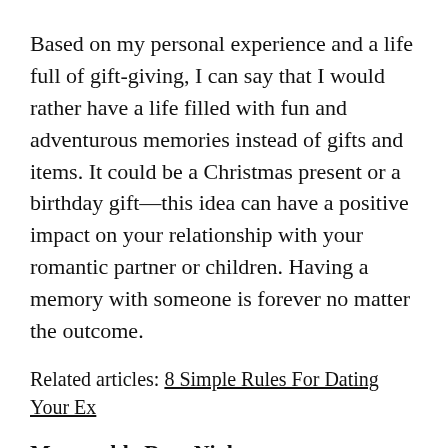Based on my personal experience and a life full of gift-giving, I can say that I would rather have a life filled with fun and adventurous memories instead of gifts and items. It could be a Christmas present or a birthday gift—this idea can have a positive impact on your relationship with your romantic partner or children. Having a memory with someone is forever no matter the outcome.
Related articles: 8 Simple Rules For Dating Your Ex
Memorable Date Night:
You do not need to go out and spend an arm and a leg on a cute date night for you and your partner. Many inexpensive ideas are way more memorable and an experience. I love the idea of a picnic date, go to the biggest park in town and enjoy a charcuterie plate, people watch and enjoy a glass of your favorite wine.